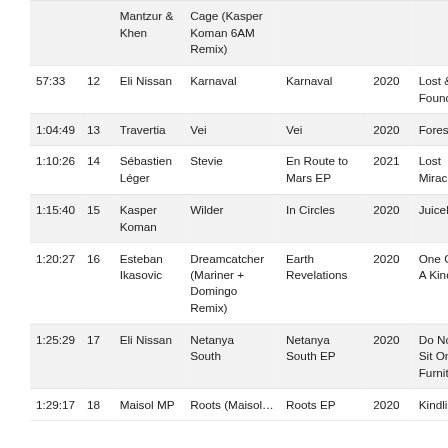| Time | # | Artist | Track | Album | Year | Label |
| --- | --- | --- | --- | --- | --- | --- |
|  |  | Mantzur & Khen | Cage (Kasper Koman 6AM Remix) |  |  |  |
| 57:33 | 12 | Eli Nissan | Karnaval | Karnaval | 2020 | Lost & Found |
| 1:04:49 | 13 | Travertia | Vei | Vei | 2020 | Forestri… |
| 1:10:26 | 14 | Sébastien Léger | Stevie | En Route to Mars EP | 2021 | Lost Miracle |
| 1:15:40 | 15 | Kasper Koman | Wilder | In Circles | 2020 | Juicebox… |
| 1:20:27 | 16 | Esteban Ikasovic | Dreamcatcher (Mariner + Domingo Remix) | Earth Revelations | 2020 | One Of A Kind |
| 1:25:29 | 17 | Eli Nissan | Netanya South | Netanya South EP | 2020 | Do Not Sit On The Furniture |
| 1:29:17 | 18 | Maisol MP | Roots (Maisol… | Roots EP | 2020 | Kindli… |